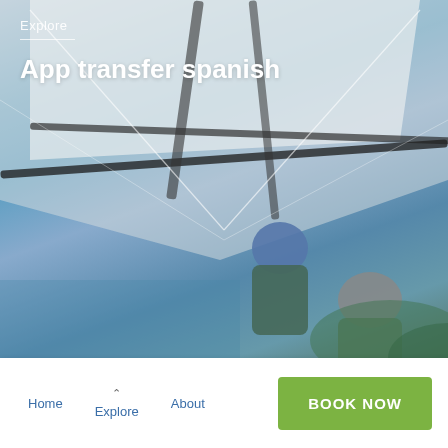[Figure (photo): Two people hang gliding, wearing helmets and harnesses, photographed from below with wide-angle/fisheye lens. Sky, ocean and green hills visible in background. The hang glider wing structure and cables are visible above.]
Explore
App transfer spanish
Home  Explore  About  BOOK NOW